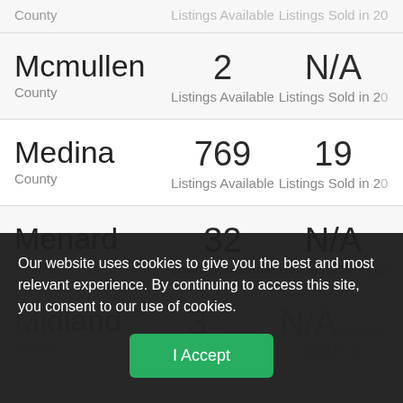| County | Listings Available | Listings Sold in 20XX |
| --- | --- | --- |
| Mcmullen County | 2 | N/A |
| Medina County | 769 | 19 |
| Menard County | 32 | N/A |
| Midland County | 3 | N/A |
Our website uses cookies to give you the best and most relevant experience. By continuing to access this site, you consent to our use of cookies.